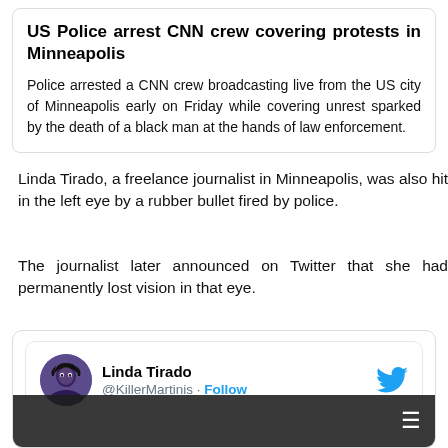US Police arrest CNN crew covering protests in Minneapolis
Police arrested a CNN crew broadcasting live from the US city of Minneapolis early on Friday while covering unrest sparked by the death of a black man at the hands of law enforcement.
Linda Tirado, a freelance journalist in Minneapolis, was also hit in the left eye by a rubber bullet fired by police.
The journalist later announced on Twitter that she had permanently lost vision in that eye.
[Figure (screenshot): Tweet from Linda Tirado (@KillerMartinis) with Follow button and Twitter bird icon. Tweet text: 'an update: I am permanently blind in my left eye, and the docs absolutely refuse to let me go back to work for they say six weeks. I'm definitely not']